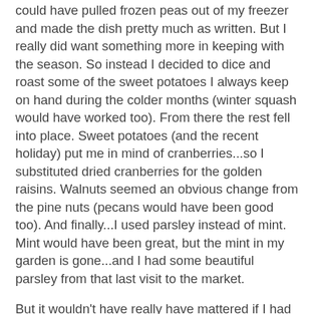could have pulled frozen peas out of my freezer and made the dish pretty much as written.  But I really did want something more in keeping with the season.  So instead I decided to dice and roast some of the sweet potatoes I always keep on hand during the colder months (winter squash would have worked too).  From there the rest fell into place.  Sweet potatoes (and the recent holiday) put me in mind of cranberries...so I substituted dried cranberries for the golden raisins.  Walnuts seemed an obvious change from the pine nuts (pecans would have been good too).  And finally...I used parsley instead of mint.  Mint would have been great, but the mint in my garden is gone...and I had some beautiful parsley from that last visit to the market.
But it wouldn't have really have mattered if I had had the spring version of this recipe to refer to or not.  Both versions are just dressed up grain pilafs.  If you know how to make a basic grain pilaf, you can make a few judicious choices concerning the actual ingredients (like those I outlined above)...and a dish like this pretty much drops into place.
The fall version of this pilaf was delicious...I may even like it